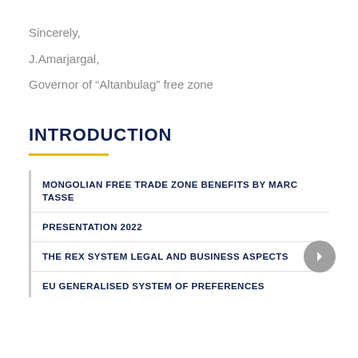Sincerely,
J.Amarjargal,
Governor of “Altanbulag” free zone
INTRODUCTION
MONGOLIAN FREE TRADE ZONE BENEFITS BY MARC TASSE
PRESENTATION 2022
THE REX SYSTEM LEGAL AND BUSINESS ASPECTS
EU GENERALISED SYSTEM OF PREFERENCES